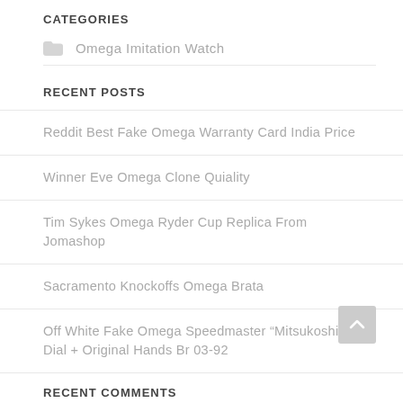CATEGORIES
Omega Imitation Watch
RECENT POSTS
Reddit Best Fake Omega Warranty Card India Price
Winner Eve Omega Clone Quiality
Tim Sykes Omega Ryder Cup Replica From Jomashop
Sacramento Knockoffs Omega Brata
Off White Fake Omega Speedmaster “Mitsukoshi” Dial + Original Hands Br 03-92
RECENT COMMENTS